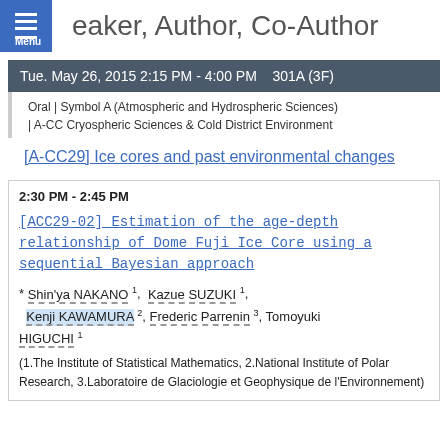Speaker, Author, Co-Author
Tue. May 26, 2015 2:15 PM - 4:00 PM   301A (3F)
Oral | Symbol A (Atmospheric and Hydrospheric Sciences) | A-CC Cryospheric Sciences & Cold District Environment
[A-CC29] Ice cores and past environmental changes
2:30 PM - 2:45 PM
[ACC29-02] Estimation of the age-depth relationship of Dome Fuji Ice Core using a sequential Bayesian approach
* Shin'ya NAKANO 1, Kazue SUZUKI 1, Kenji KAWAMURA 2, Frederic Parrenin 3, Tomoyuki HIGUCHI 1
(1.The Institute of Statistical Mathematics, 2.National Institute of Polar Research, 3.Laboratoire de Glaciologie et Geophysique de l'Environnement)